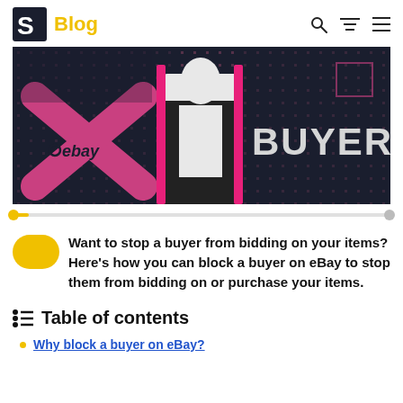S Blog
[Figure (illustration): eBay block buyer promotional banner — dark navy background with pink X and eBay text on left, a person in a leather jacket in the center with pink accent lines, and the word BUYER in large white letters on the right]
Want to stop a buyer from bidding on your items? Here's how you can block a buyer on eBay to stop them from bidding on or purchase your items.
Table of contents
Why block a buyer on eBay?